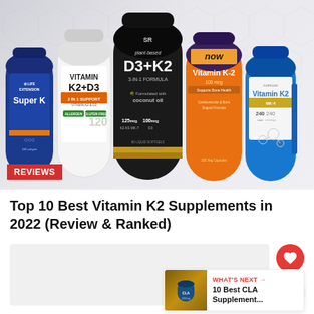[Figure (photo): Hero image showing five Vitamin K2 supplement bottles: Life Extension Super K, Vitamin K2+D3 2 in 1 Support, Sports Research plant-based D3+K2, NOW Vitamin K-2, and Nutricost Vitamin K2. A red REVIEWS badge is overlaid in the bottom-left corner of the image.]
Top 10 Best Vitamin K2 Supplements in 2022 (Review & Ranked)
[Figure (screenshot): Light gray content placeholder box below the title, with a red heart button and a share button on the right side, and a 'WHAT'S NEXT' card in the bottom-right showing '10 Best CLA Supplement...']